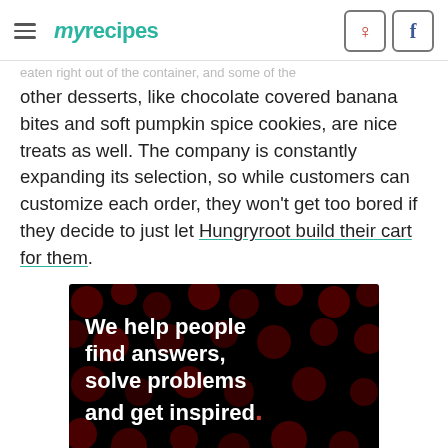myrecipes
eaten right out of the container, and some of the other desserts, like chocolate covered banana bites and soft pumpkin spice cookies, are nice treats as well. The company is constantly expanding its selection, so while customers can customize each order, they won't get too bored if they decide to just let Hungryroot build their cart for them.
[Figure (infographic): Dark advertisement banner with polka dot background reading 'We help people find answers, solve problems and get inspired.' with a red period at the end.]